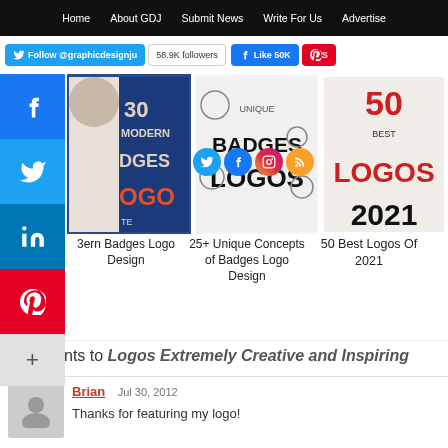Home | About GDJ | Submit News | Write For Us | Advertise
Follow @graphicdesignju | 58.9K followers | Like 50K
[Figure (screenshot): Three article thumbnail images: '3_ Modern Badges Logo Design', '25+ Unique Concepts of Badges Logo Design', '50 Best Logos Of 2021']
3_ern Badges Logo Design
25+ Unique Concepts of Badges Logo Design
50 Best Logos Of 2021
Comments to Logos Extremely Creative and Inspiring
Brian  Jul 30, 2012
Thanks for featuring my logo!